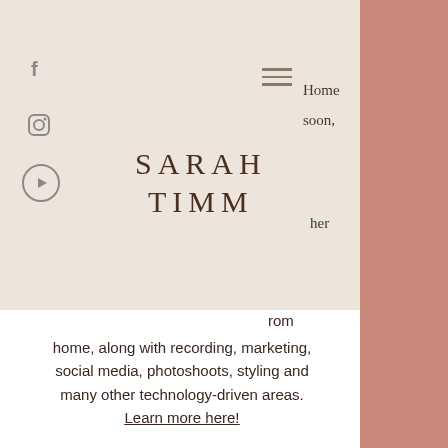[Figure (illustration): Social media icons: Facebook (f), Instagram (camera icon), YouTube (play button in circle)]
Home
soon,
SARAH TIMM
her
rom home, along with recording, marketing, social media, photoshoots, styling and many other technology-driven areas. Learn more here!
[Figure (photo): Circular cropped portrait photo of a woman with long reddish-brown hair, smiling, against a grey background. Photo is partially visible, cut off at bottom of page.]